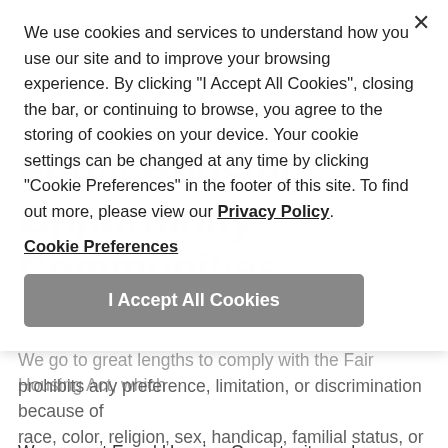Equal Housing Opportunity Communities
We use cookies and services to understand how you use our site and to improve your browsing experience. By clicking "I Accept All Cookies", closing the bar, or continuing to browse, you agree to the storing of cookies on your device. Your cookie settings can be changed at any time by clicking "Cookie Preferences" in the footer of this site. To find out more, please view our Privacy Policy.
Cookie Preferences
I Accept All Cookies
We go to great lengths to comply with the Fair Housing Act, which prohibits any preference, limitation, or discrimination because of race, color, religion, sex, handicap, familial status, or national origin, or intention to make such preference, limitation or discrimination."
We support Equal Housing Opportunity and encourage users of our site to follow appropriate guidelines to comply with the Fair Housing Act, as well as any applicable state and local regulations. All renters are hereby informed that all property rental offers are available on an equal